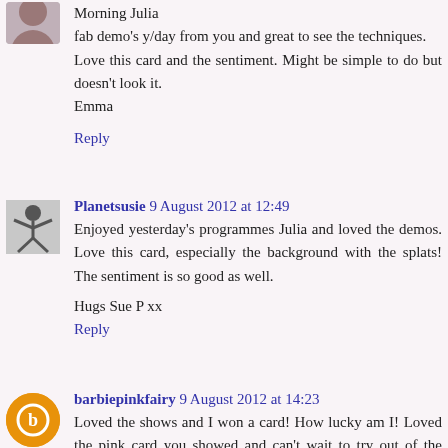Morning Julia
fab demo's y/day from you and great to see the techniques.
Love this card and the sentiment. Might be simple to do but doesn't look it.
Emma
Reply
Planetsusie 9 August 2012 at 12:49
Enjoyed yesterday's programmes Julia and loved the demos. Love this card, especially the background with the splats! The sentiment is so good as well.
Hugs Sue P xx
Reply
barbiepinkfairy 9 August 2012 at 14:23
Loved the shows and I won a card! How lucky am I! Loved the pink card you showed and can't wait to try out of the box! Have a